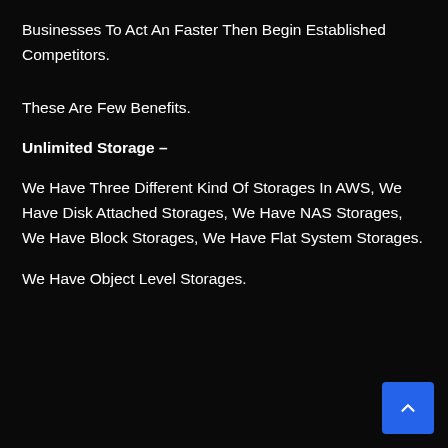Businesses To Act An Faster Then Begin Established Competitors.
These Are Few Benefits.
Unlimited Storage –
We Have Three Different Kind Of Storages In AWS, We Have Disk Attached Storages, We Have NAS Storages, We Have Block Storages, We Have Flat System Storages.
We Have Object Level Storages.